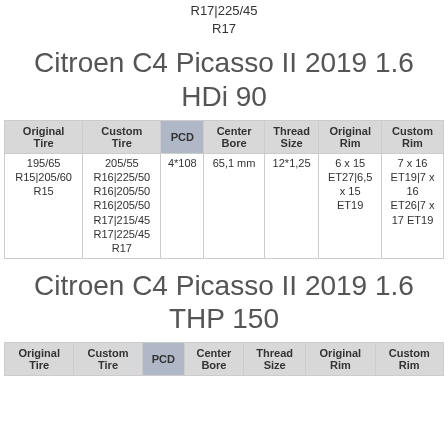R17|225/45
R17
Citroen C4 Picasso II 2019 1.6 HDi 90
| Original Tire | Custom Tire | PCD | Center Bore | Thread Size | Original Rim | Custom Rim |
| --- | --- | --- | --- | --- | --- | --- |
| 195/65 R15|205/60 R15 | 205/55 R16|225/50 R16|205/50 R16|205/50 R17|215/45 R17|225/45 R17 | 4*108 | 65,1 mm | 12*1,25 | 6 x 15 ET27|6,5 x 15 ET19 | 7 x 16 ET19|7 x 16 ET26|7 x 17 ET19 |
Citroen C4 Picasso II 2019 1.6 THP 150
| Original Tire | Custom Tire | PCD | Center Bore | Thread Size | Original Rim | Custom Rim |
| --- | --- | --- | --- | --- | --- | --- |